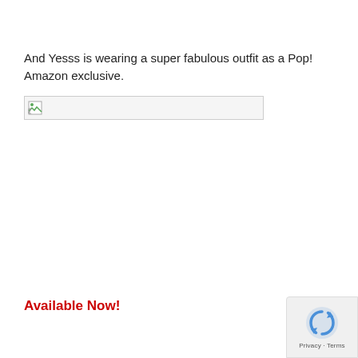And Yesss is wearing a super fabulous outfit as a Pop! Amazon exclusive.
[Figure (other): Broken image placeholder showing a small broken image icon inside a rectangular bordered box]
Available Now!
[Figure (other): Google reCAPTCHA badge with circular arrow icon and Privacy - Terms text]